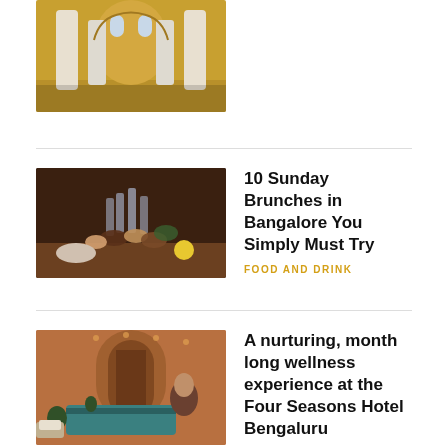[Figure (photo): Interior of a palatial building with golden-yellow arched walls and white columns]
[Figure (photo): Group of people clinking wine glasses at a brunch table with food and drinks]
10 Sunday Brunches in Bangalore You Simply Must Try
FOOD AND DRINK
[Figure (photo): Spa or hotel lobby interior with teal reception desk, arched doorway, and warm lighting]
A nurturing, month long wellness experience at the Four Seasons Hotel Bengaluru